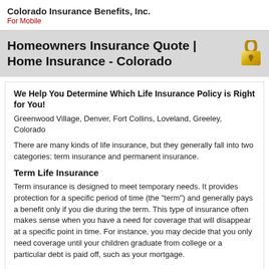Colorado Insurance Benefits, Inc.
For Mobile
Homeowners Insurance Quote | Home Insurance - Colorado
We Help You Determine Which Life Insurance Policy is Right for You!
Greenwood Village, Denver, Fort Collins, Loveland, Greeley, Colorado
There are many kinds of life insurance, but they generally fall into two categories: term insurance and permanent insurance.
Term Life Insurance
Term insurance is designed to meet temporary needs. It provides protection for a specific period of time (the "term") and generally pays a benefit only if you die during the term. This type of insurance often makes sense when you have a need for coverage that will disappear at a specific point in time. For instance, you may decide that you only need coverage until your children graduate from college or a particular debt is paid off, such as your mortgage.
Permanent Life Insurance